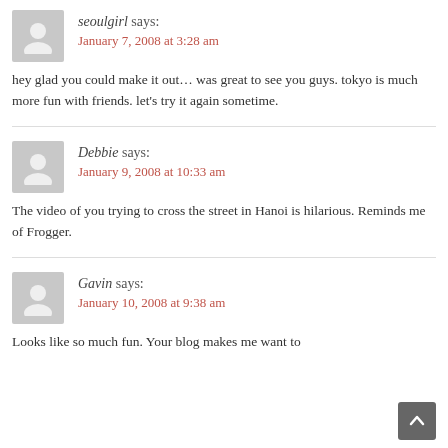seoulgirl says:
January 7, 2008 at 3:28 am
hey glad you could make it out… was great to see you guys. tokyo is much more fun with friends. let's try it again sometime.
Debbie says:
January 9, 2008 at 10:33 am
The video of you trying to cross the street in Hanoi is hilarious. Reminds me of Frogger.
Gavin says:
January 10, 2008 at 9:38 am
Looks like so much fun. Your blog makes me want to